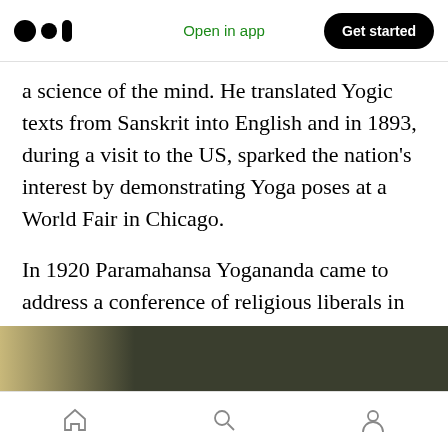Open in app | Get started
a science of the mind. He translated Yogic texts from Sanskrit into English and in 1893, during a visit to the US, sparked the nation's interest by demonstrating Yoga poses at a World Fair in Chicago.
In 1920 Paramahansa Yogananda came to address a conference of religious liberals in Boston. He had been sent by his guru, to “spread the message of kriya yoga to the West.”
[Figure (photo): Dark olive/green background image strip, partially showing a corner of a page or book]
Home | Search | Profile navigation icons